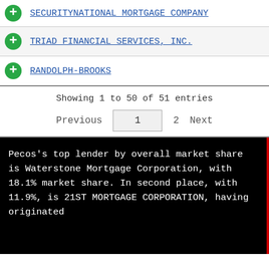SECURITYNATIONAL MORTGAGE COMPANY
TRIAD FINANCIAL SERVICES, INC.
RANDOLPH-BROOKS
Showing 1 to 50 of 51 entries
Previous  1  2  Next
Pecos's top lender by overall market share is Waterstone Mortgage Corporation, with 18.1% market share. In second place, with 11.9%, is 21ST MORTGAGE CORPORATION, having originated...